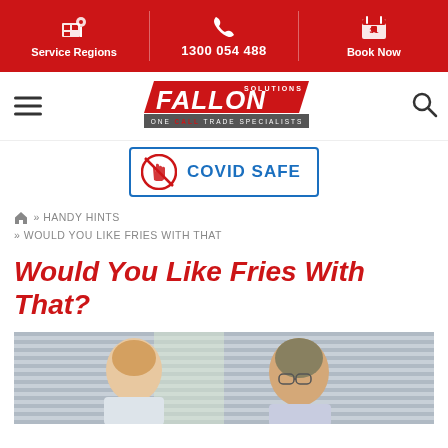Service Regions | 1300 054 488 | Book Now
[Figure (logo): Fallon Solutions logo - ONE CALL TRADE SPECIALISTS]
[Figure (infographic): COVID SAFE badge with no-touch hand icon]
» HANDY HINTS » WOULD YOU LIKE FRIES WITH THAT
Would You Like Fries With That?
[Figure (photo): Two men smiling, standing indoors near a window with blinds]